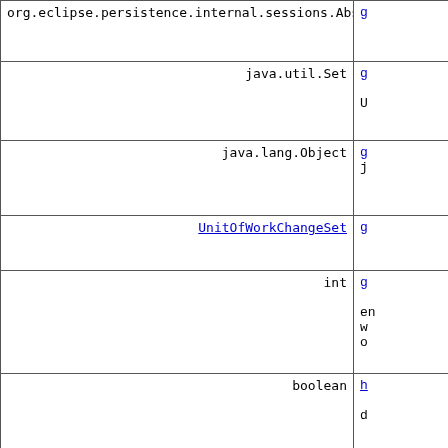| Type | Method/Description |
| --- | --- |
| org.eclipse.persistence.internal.sessions.AbstractSession | g... |
| java.util.Set | g...
U... |
| java.lang.Object | g...
j... |
| UnitOfWorkChangeSet | g... |
| int | g...
en...
w...
o... |
| boolean | h...
d... |
| boolean | i... |
| boolean | i...
th... |